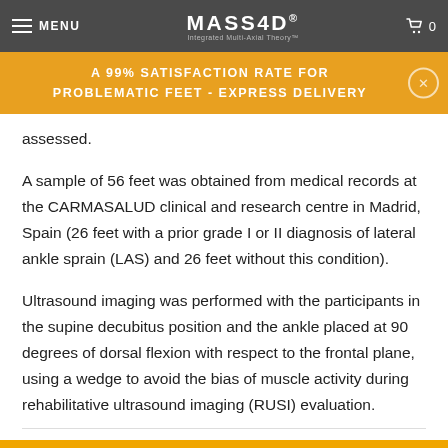MASS4D® | Integrated Multi-Axial Theory™ | MENU | 0
A 99% SATISFACTION RATE FOR PROBLEMATIC FEET - EXPRESS DELIVERY
assessed.
A sample of 56 feet was obtained from medical records at the CARMASALUD clinical and research centre in Madrid, Spain (26 feet with a prior grade I or II diagnosis of lateral ankle sprain (LAS) and 26 feet without this condition).
Ultrasound imaging was performed with the participants in the supine decubitus position and the ankle placed at 90 degrees of dorsal flexion with respect to the frontal plane, using a wedge to avoid the bias of muscle activity during rehabilitative ultrasound imaging (RUSI) evaluation.
Offer your Patients a Custom Calibrated Insole with a